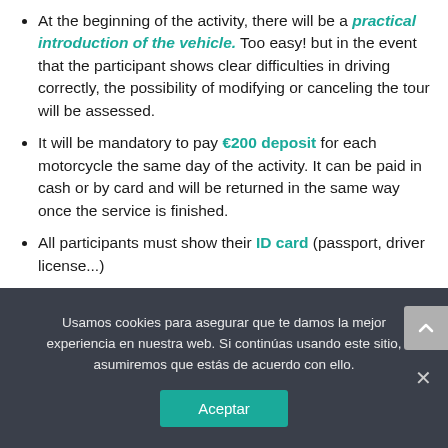At the beginning of the activity, there will be a practical introduction of the vehicle. Too easy! but in the event that the participant shows clear difficulties in driving correctly, the possibility of modifying or canceling the tour will be assessed.
It will be mandatory to pay €200 deposit for each motorcycle the same day of the activity. It can be paid in cash or by card and will be returned in the same way once the service is finished.
All participants must show their ID card (passport, driver license...)
The activity can be postponed or canceled because of
Usamos cookies para asegurar que te damos la mejor experiencia en nuestra web. Si continúas usando este sitio, asumiremos que estás de acuerdo con ello.
Aceptar